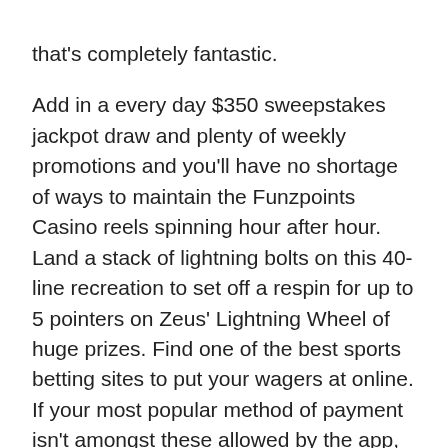that's completely fantastic.

Add in a every day $350 sweepstakes jackpot draw and plenty of weekly promotions and you'll have no shortage of ways to maintain the Funzpoints Casino reels spinning hour after hour. Land a stack of lightning bolts on this 40-line recreation to set off a respin for up to 5 pointers on Zeus' Lightning Wheel of huge prizes. Find one of the best sports betting sites to put your wagers at online. If your most popular method of payment isn't amongst these allowed by the app, you would possibly find yourself struggling to search out a suitable method to pay on your bets. Blackjack is a superb sport as a result of it combines comprehensible gameplay with a strategic element and solid anticipated payback. Speed can also be one other important consideration, as if you need to reload your bankroll in a